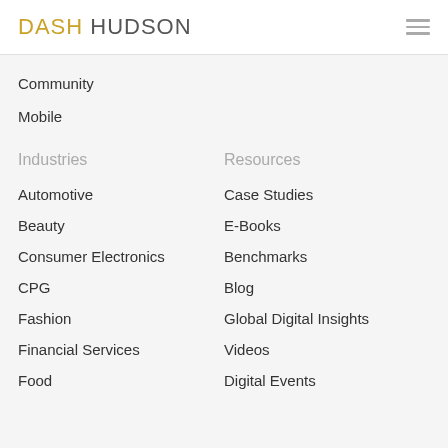DASH HUDSON
Community
Mobile
Industries
Resources
Automotive
Case Studies
Beauty
E-Books
Consumer Electronics
Benchmarks
CPG
Blog
Fashion
Global Digital Insights
Financial Services
Videos
Food
Digital Events